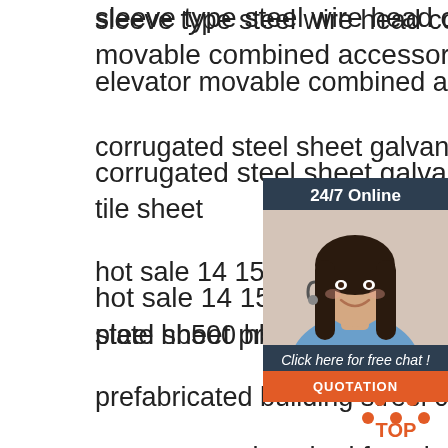sleeve type steel wire head combination villa elevator movable combined accessories
corrugated steel sheet galvanized steel roof tile sheet
hot sale 14 15 16mm thickness alloy plate hb500 hb400 steel sheet price
prefabricated building streel construction structure poultry shed farm broiler chicken house design
good price high quality lme16uu linear bearing matching shaft size 16
cold rolled stainless steel sheets plate coil 200 series 300 400 series sheets
[Figure (infographic): 24/7 Online chat widget with a customer service representative photo, 'Click here for free chat!' text, and an orange QUOTATION button]